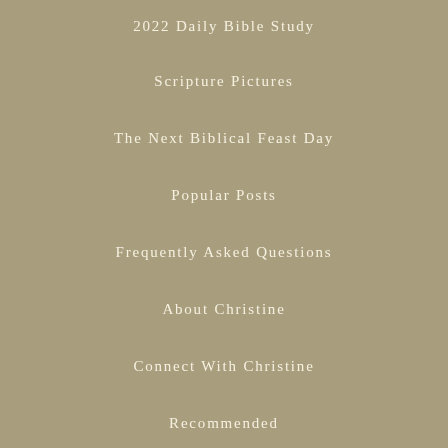2022 Daily Bible Study
Scripture Pictures
The Next Biblical Feast Day
Popular Posts
Frequently Asked Questions
About Christine
Connect With Christine
Recommended